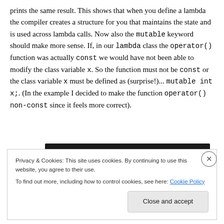prints the same result. This shows that when you define a lambda the compiler creates a structure for you that maintains the state and is used across lambda calls. Now also the mutable keyword should make more sense. If, in our lambda class the operator() function was actually const we would have not been able to modify the class variable x. So the function must not be const or the class variable x must be defined as (surprise!)... mutable int x;. (In the example I decided to make the function operator() non-const since it feels more correct).
[Figure (other): Black horizontal bar separator]
Privacy & Cookies: This site uses cookies. By continuing to use this website, you agree to their use.
To find out more, including how to control cookies, see here: Cookie Policy